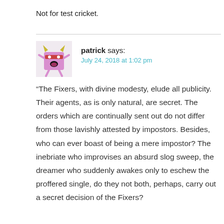Not for test cricket.
patrick says:
July 24, 2018 at 1:02 pm
“The Fixers, with divine modesty, elude all publicity. Their agents, as is only natural, are secret. The orders which are continually sent out do not differ from those lavishly attested by impostors. Besides, who can ever boast of being a mere impostor? The inebriate who improvises an absurd slog sweep, the dreamer who suddenly awakes only to eschew the proffered single, do they not both, perhaps, carry out a secret decision of the Fixers?